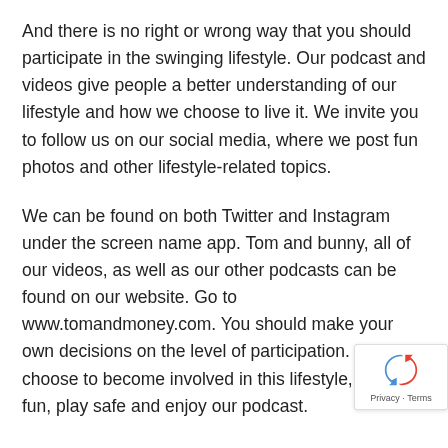And there is no right or wrong way that you should participate in the swinging lifestyle. Our podcast and videos give people a better understanding of our lifestyle and how we choose to live it. We invite you to follow us on our social media, where we post fun photos and other lifestyle-related topics.
We can be found on both Twitter and Instagram under the screen name app. Tom and bunny, all of our videos, as well as our other podcasts can be found on our website. Go to www.tomandmoney.com. You should make your own decisions on the level of participation. If you choose to become involved in this lifestyle, have fun, play safe and enjoy our podcast.
I swear to God tomorrow. We're going to redo that. Ok mean, I kid that is our priority tomorrow is to get rid of No, Nope, Nope. Primary flagging priorities. Tomorrow burning more leaves, more leaves. If you follow us on